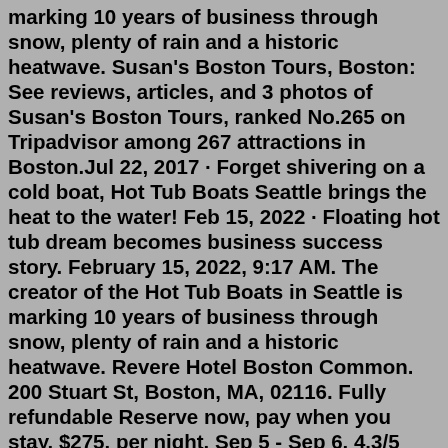marking 10 years of business through snow, plenty of rain and a historic heatwave. Susan's Boston Tours, Boston: See reviews, articles, and 3 photos of Susan's Boston Tours, ranked No.265 on Tripadvisor among 267 attractions in Boston.Jul 22, 2017 · Forget shivering on a cold boat, Hot Tub Boats Seattle brings the heat to the water! Feb 15, 2022 · Floating hot tub dream becomes business success story. February 15, 2022, 9:17 AM. The creator of the Hot Tub Boats in Seattle is marking 10 years of business through snow, plenty of rain and a historic heatwave. Revere Hotel Boston Common. 200 Stuart St, Boston, MA, 02116. Fully refundable Reserve now, pay when you stay. $275. per night. Sep 5 - Sep 6. 4.3/5 Excellent! (1,618 reviews) "Perfect location to explore Boston. Lots of restaurants and entertainment nearby!Overview. Boston is best seen by land and water, and this duck tour takes you from Boston Common to the Charles River on a single excursion, all while riding in a rolling, floating piece of American military history. Traveling by vintage, World War II amphibious